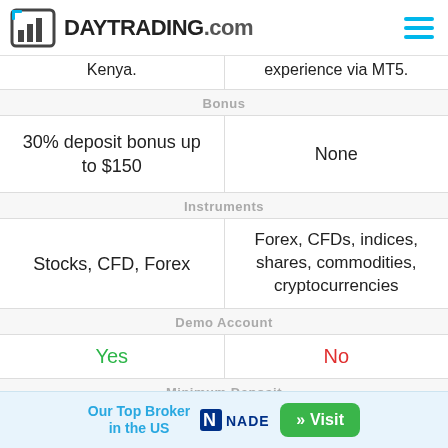DAYTRADING.com
|  |  |
| --- | --- |
| Kenya. | experience via MT5. |
| Bonus | Bonus |
| 30% deposit bonus up to $150 | None |
| Instruments | Instruments |
| Stocks, CFD, Forex | Forex, CFDs, indices, shares, commodities, cryptocurrencies |
| Demo Account | Demo Account |
| Yes | No |
| Minimum Deposit | Minimum Deposit |
| $5 | $250 |
Our Top Broker in the US
[Figure (logo): Nadex logo]
» Visit